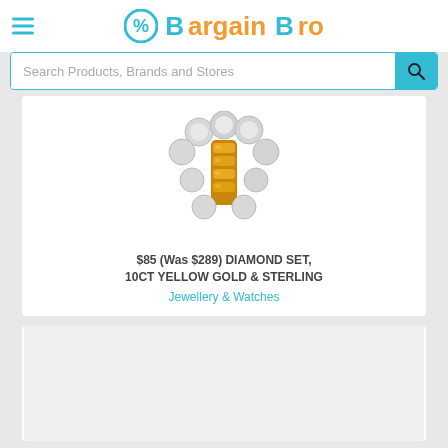Bargain Bro
Search Products, Brands and Stores
[Figure (photo): Jewellery item showing a gold and sterling silver diamond set piece with multiple round silver beads and a gold cylindrical center piece.]
$85 (Was $289) DIAMOND SET, 10CT YELLOW GOLD & STERLING
Jewellery & Watches
[Figure (photo): Second product card, image loading or blank.]